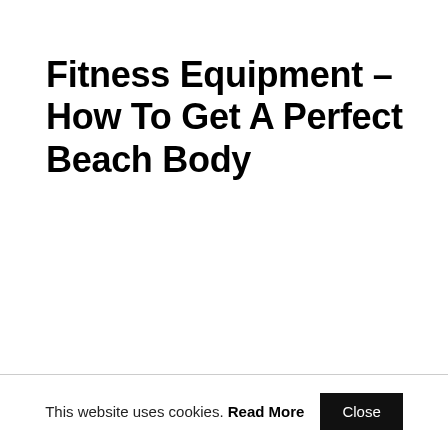Fitness Equipment – How To Get A Perfect Beach Body
This website uses cookies. Read More Close